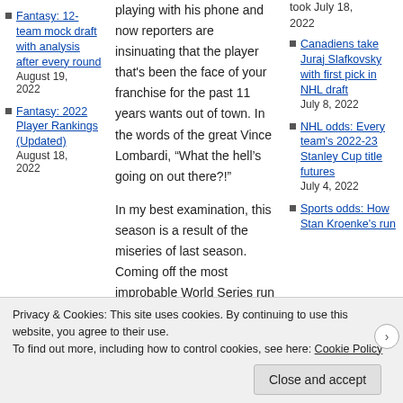Fantasy: 12-team mock draft with analysis after every round August 19, 2022
Fantasy: 2022 Player Rankings (Updated) August 18, 2022
playing with his phone and now reporters are insinuating that the player that's been the face of your franchise for the past 11 years wants out of town. In the words of the great Vince Lombardi, “What the hell’s going on out there?!”
In my best examination, this season is a result of the miseries of last season. Coming off the most improbable World Series run maybe ever, the Red Sox lost a player that
Canadiens take Juraj Slafkovsky with first pick in NHL draft July 8, 2022
NHL odds: Every team's 2022-23 Stanley Cup title futures July 4, 2022
Sports odds: How Stan Kroenke's run
Privacy & Cookies: This site uses cookies. By continuing to use this website, you agree to their use.
To find out more, including how to control cookies, see here: Cookie Policy
Close and accept